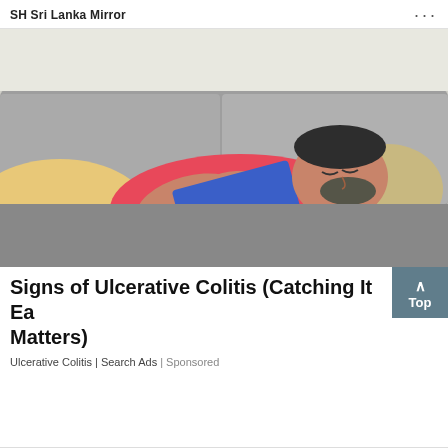SH Sri Lanka Mirror
[Figure (photo): A man in a pink t-shirt lying on a grey sofa holding a blue book/tablet on his chest, apparently asleep or resting. Yellow pants visible. Beige pillow behind his head.]
Signs of Ulcerative Colitis (Catching It Ea Matters)
Ulcerative Colitis | Search Ads | Sponsored